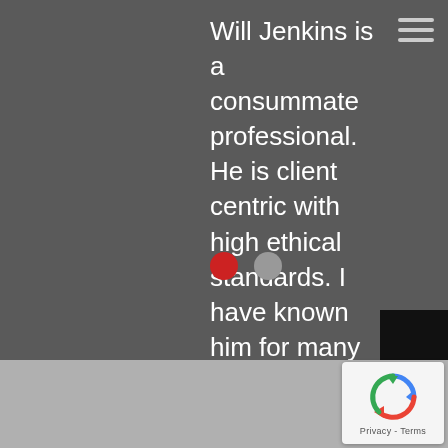[Figure (screenshot): Hamburger/menu icon with three horizontal lines in top right corner]
Will Jenkins is a consummate professional. He is client centric with high ethical standards. I have known him for many years and consider him to be my “go to” in the service industry! Will also “wholeheartedly” loves representing EnviroMaster of Raleigh which is paramount in any professional. Trust me when I say doing business with Will Jenkins is a joy. Thanks John Webster
[Figure (other): Black vertical tab on the right side with rotated text reading CORPORATE SITE]
[Figure (other): Carousel navigation dots: one red (active) and one gray]
[Figure (other): Google reCAPTCHA badge in bottom right corner showing reCAPTCHA logo and Privacy - Terms text]